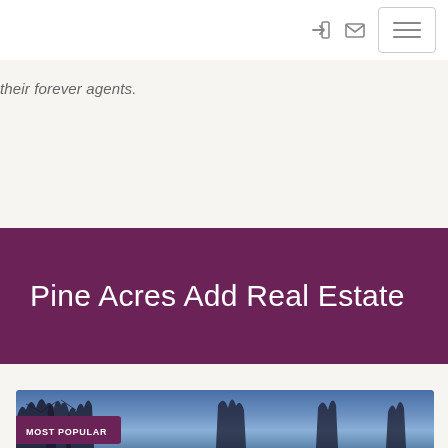their forever agents.
Pine Acres Add Real Estate
[Figure (photo): Photograph of tree silhouettes against a twilight blue sky, with a 'MOST POPULAR' label badge in the lower left corner.]